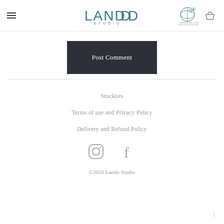LANDO STUDIO — navigation header with hamburger menu, carbon neutral worldwide delivery badge, and basket icon
Post Comment
Stockists
Terms of use and Privacy Policy
Delivery and Refund Policy
[Figure (other): Instagram and Facebook social media icons in grey]
©2020 Lando Studio